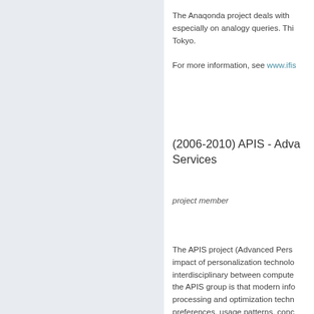The Anaqonda project deals with especially on analogy queries. This Tokyo.
For more information, see www.ifis...
(2006-2010) APIS - Advanced Services
project member
The APIS project (Advanced Pers impact of personalization technolo interdisciplinary between compute the APIS group is that modern info processing and optimization techn preferences, usage patterns, conc time the architectures for informati database systems to more open s Source Code for our Skyline Simu